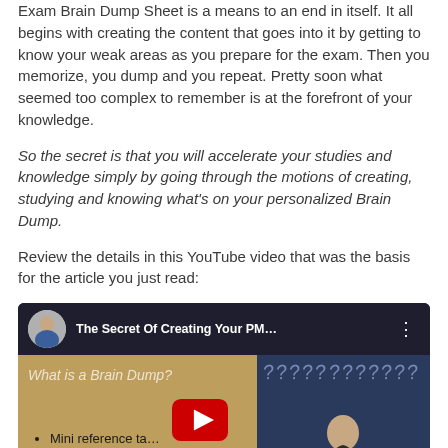Exam Brain Dump Sheet is a means to an end in itself. It all begins with creating the content that goes into it by getting to know your weak areas as you prepare for the exam. Then you memorize, you dump and you repeat. Pretty soon what seemed too complex to remember is at the forefront of your knowledge.
So the secret is that you will accelerate your studies and knowledge simply by going through the motions of creating, studying and knowing what's on your personalized Brain Dump.
Review the details in this YouTube video that was the basis for the article you just read:
[Figure (screenshot): YouTube video embed titled 'The Secret Of Creating Your PM...' with a play button overlay, left panel showing bullet points 'Mini reference ta...' and 'Abbreviations' over a parchment background, and right panel showing a woman against a dark blue background with question marks.]